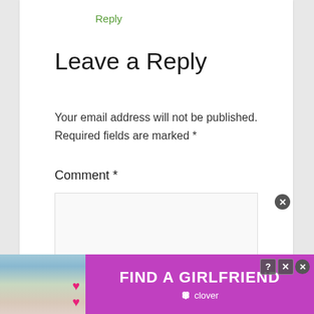Reply
Leave a Reply
Your email address will not be published. Required fields are marked *
Comment *
[Figure (screenshot): Advertisement banner for 'Find a Girlfriend' by Clover dating app, with a photo of a blonde woman holding pink hearts on the left, and purple background with white bold text on the right. Close (X), question mark, and X buttons visible.]